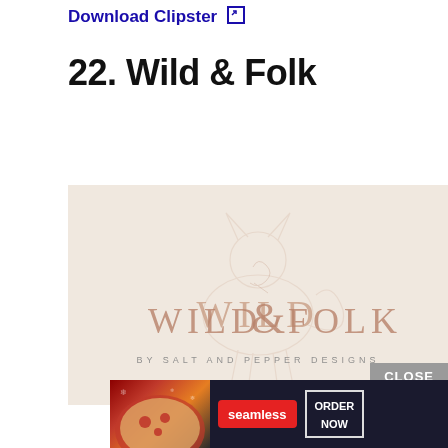Download Clipster
22. Wild & Folk
[Figure (logo): Wild & Folk logo on a beige/cream background with a decorative fox or animal silhouette outline. Text reads 'WILD & FOLK' in large serif letters with an ampersand, and below 'BY SALT AND PEPPER DESIGNS'. A 'CLOSE' button overlay is visible in the bottom right, and a Seamless food delivery ad banner with pizza image and 'ORDER NOW' button appears at the very bottom.]